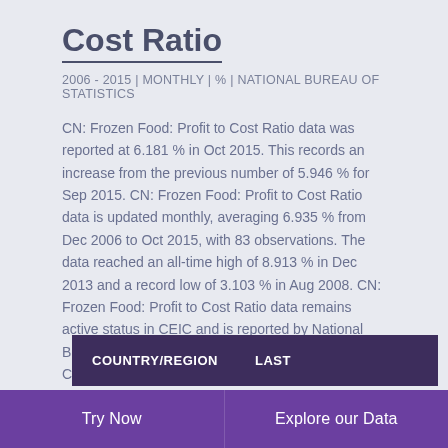Cost Ratio
2006 - 2015 | MONTHLY | % | NATIONAL BUREAU OF STATISTICS
CN: Frozen Food: Profit to Cost Ratio data was reported at 6.181 % in Oct 2015. This records an increase from the previous number of 5.946 % for Sep 2015. CN: Frozen Food: Profit to Cost Ratio data is updated monthly, averaging 6.935 % from Dec 2006 to Oct 2015, with 83 observations. The data reached an all-time high of 8.913 % in Dec 2013 and a record low of 3.103 % in Aug 2008. CN: Frozen Food: Profit to Cost Ratio data remains active status in CEIC and is reported by National Bureau of Statistics. The data is categorized under China Premium Database's Industrial Sector – Table CN.BHB: Convenience Food: Frozen Food.
| COUNTRY/REGION | LAST |
| --- | --- |
Try Now   Explore our Data